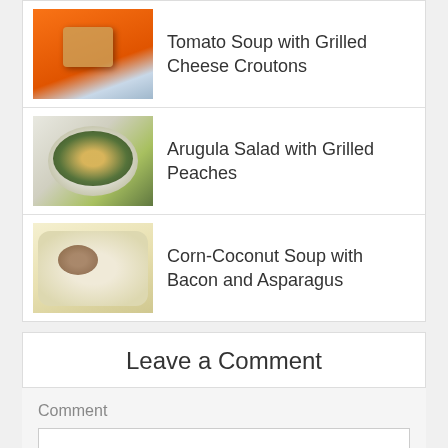[Figure (photo): Tomato soup in a bowl with grilled cheese croutons on top]
Tomato Soup with Grilled Cheese Croutons
[Figure (photo): Arugula salad with grilled peaches in a bowl]
Arugula Salad with Grilled Peaches
[Figure (photo): Corn-coconut soup with bacon and asparagus in a bowl]
Corn-Coconut Soup with Bacon and Asparagus
Leave a Comment
Comment